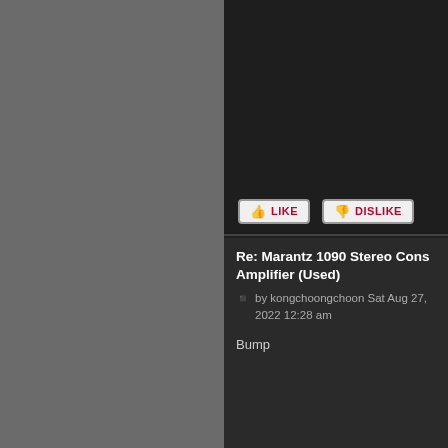[Figure (screenshot): Left grey sidebar panel]
[Figure (screenshot): Like and Dislike buttons with thumbs icons]
Re: Marantz 1090 Stereo Cons Amplifier (Used)
by kongchoongchoon Sat Aug 27, 2022 12:28 am
Bump